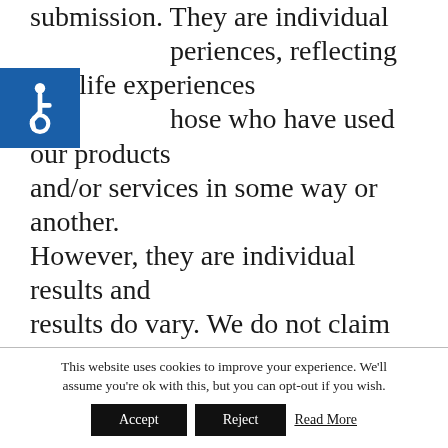submission. They are individual experiences, reflecting real life experiences of those who have used our products and/or services in some way or another. However, they are individual results and results do vary. We do not claim that They are typical results that consumers will generally achieve. The testimonials are not necessarily representative of all of those who will use our products and/or services.
[Figure (logo): Accessibility icon (wheelchair symbol) on blue background]
This website uses cookies to improve your experience. We'll assume you're ok with this, but you can opt-out if you wish.